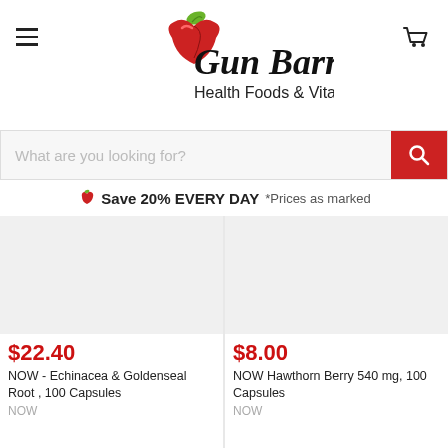[Figure (logo): Gun Barrel Health Foods & Vitamins logo with red apple and green leaf]
What are you looking for?
Save 20% EVERY DAY *Prices as marked
[Figure (photo): Product image placeholder for NOW - Echinacea & Goldenseal Root, 100 Capsules]
$22.40
NOW - Echinacea & Goldenseal Root , 100 Capsules
NOW
[Figure (photo): Product image placeholder for NOW Hawthorn Berry 540 mg, 100 Capsules]
$8.00
NOW Hawthorn Berry 540 mg, 100 Capsules
NOW